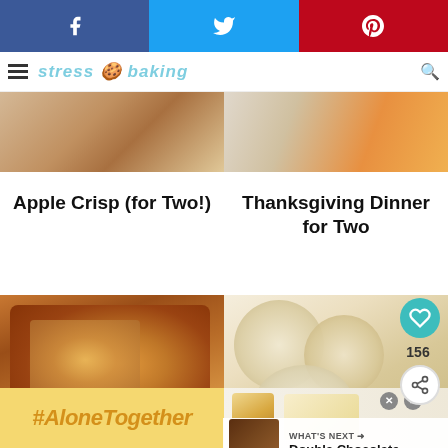[Figure (screenshot): Social share bar with Facebook (blue), Twitter (light blue), and Pinterest (red) buttons with icons]
stress baking — blog navigation header with logo and menu
[Figure (photo): Two cropped food photos: apple crisp and Thanksgiving dinner side by side]
Apple Crisp (for Two!)
Thanksgiving Dinner for Two
[Figure (photo): Close-up photo of a golden-brown baked apple crisp bread loaf]
[Figure (photo): Close-up photo of frosted sugar cookies with vanilla icing]
#AloneTogether
[Figure (photo): Advertisement: woman in kitchen, with double close buttons. WHAT'S NEXT arrow pointing to Double Chocolate...]